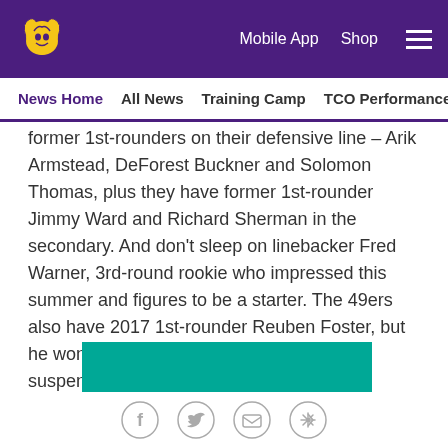Minnesota Vikings — Mobile App  Shop
News Home  All News  Training Camp  TCO Performance Center
former 1st-rounders on their defensive line – Arik Armstead, DeForest Buckner and Solomon Thomas, plus they have former 1st-rounder Jimmy Ward and Richard Sherman in the secondary. And don't sleep on linebacker Fred Warner, 3rd-round rookie who impressed this summer and figures to be a starter. The 49ers also have 2017 1st-rounder Reuben Foster, but he won't play on Sunday because of a suspension.
5. 1998 Vikings will be honored on Sunday
[Figure (other): Teal banner image with large white bold text reading 'Bleed purple?' partially visible]
Social share icons: Facebook, Twitter, Email, Link